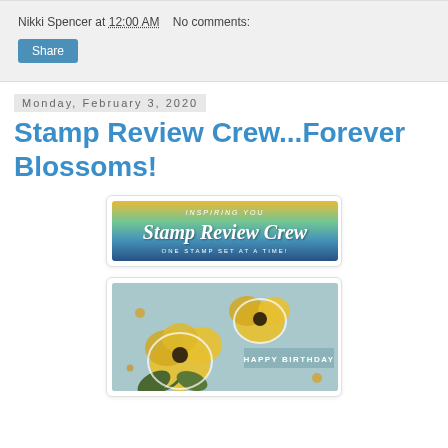Nikki Spencer at 12:00 AM   No comments:
Share
Monday, February 3, 2020
Stamp Review Crew...Forever Blossoms!
[Figure (photo): Stamp Review Crew banner with rainbow gradient background and script text reading 'Stamp Review Crew' with 'INSPIRING YOU' above and 'ONE STAMP SET AT A TIME!' below]
[Figure (photo): Handmade birthday card featuring yellow flowers (Forever Blossoms stamps) with dark green leaves on a teal background, with a 'HAPPY BIRTHDAY' label in the lower right]